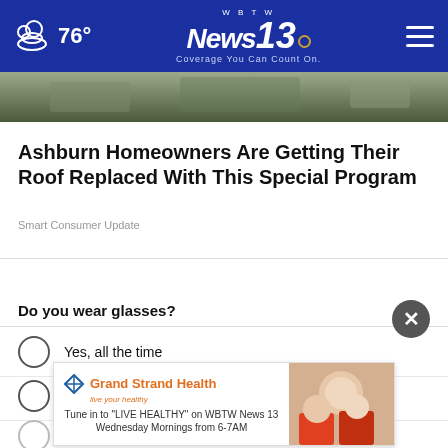76° WBTW News 13 Coverage You Can Count On.
[Figure (photo): Partial view of a rooftop or building photo at the top of the article]
Ashburn Homeowners Are Getting Their Roof Replaced With This Special Program
Smart Consumer Update
WHAT DO YOU THINK?
Do you wear glasses?
Yes, all the time
Yes, sometimes
No, but I wear contacts
No
Does not apply
[Figure (advertisement): Grand Strand Health advertisement: Tune in to LIVE HEALTHY on WBTW News 13 Wednesday Mornings from 6-7AM]